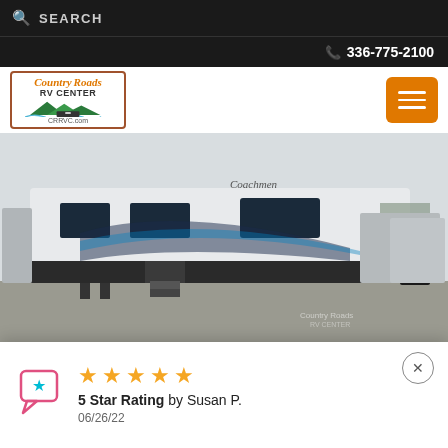SEARCH
336-775-2100
[Figure (logo): Country Roads RV Center logo with mountain graphic and CRRVC.com domain]
[Figure (photo): A Coachmen travel trailer RV parked on gravel lot at Country Roads RV Center]
[Figure (photo): Three thumbnail photos of the RV from different angles and a floorplan diagram]
5 Star Rating by Susan P. 06/26/22